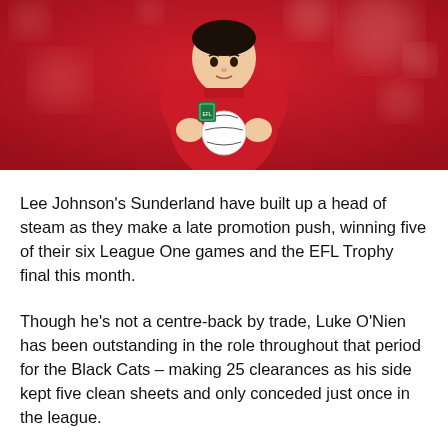[Figure (photo): A young footballer in a red Sunderland shirt gripping a football, with a red bokeh background]
Lee Johnson's Sunderland have built up a head of steam as they make a late promotion push, winning five of their six League One games and the EFL Trophy final this month.
Though he's not a centre-back by trade, Luke O'Nien has been outstanding in the role throughout that period for the Black Cats – making 25 clearances as his side kept five clean sheets and only conceded just once in the league.